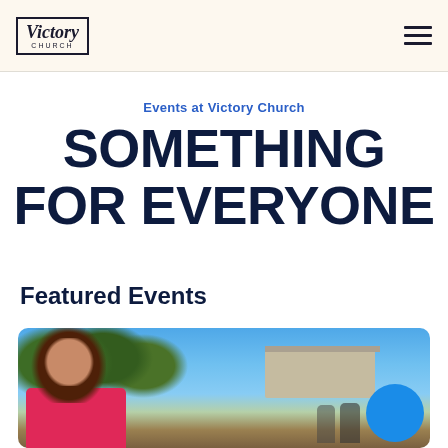[Figure (logo): Victory Church logo in a hand-lettered italic serif font inside a rectangular border, with 'CHURCH' in small caps below]
Events at Victory Church
SOMETHING FOR EVERYONE
Featured Events
[Figure (photo): Outdoor event photo showing a smiling woman with brown hair wearing a pink top, blue sky and trees in the background, a trailer/building visible, and a blue circular button element in the lower right corner]